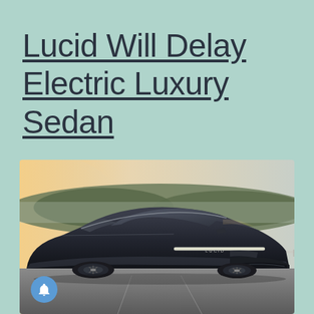Lucid Will Delay Electric Luxury Sedan
[Figure (photo): A sleek dark navy/black Lucid Air electric luxury sedan on a road with trees and hills in the background, photographed from a front three-quarter angle in warm golden light.]